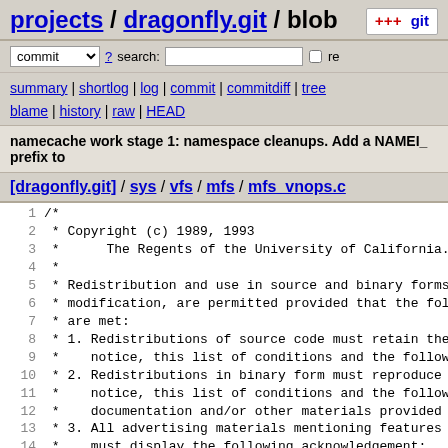projects / dragonfly.git / blob
commit ? search: re
summary | shortlog | log | commit | commitdiff | tree blame | history | raw | HEAD
namecache work stage 1: namespace cleanups. Add a NAMEI_ prefix to
[dragonfly.git] / sys / vfs / mfs / mfs_vnops.c
1  /*
2  * Copyright (c) 1989, 1993
3  *      The Regents of the University of California.  A
4  *
5  * Redistribution and use in source and binary forms, w
6  * modification, are permitted provided that the follow
7  * are met:
8  * 1. Redistributions of source code must retain the ab
9  *    notice, this list of conditions and the following
10 * 2. Redistributions in binary form must reproduce the
11 *    notice, this list of conditions and the following
12 *    documentation and/or other materials provided wit
13 * 3. All advertising materials mentioning features or
14 *    must display the following acknowledgement:
15 *       This product includes software developed by the
16 *       California, Berkeley and its contributors.
17 * 4. Neither the name of the University nor the names
18 *    may be used to endorse or promote products derive